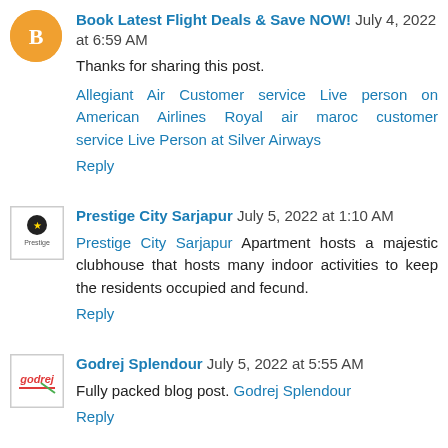Book Latest Flight Deals & Save NOW! July 4, 2022 at 6:59 AM
Thanks for sharing this post.
Allegiant Air Customer service Live person on American Airlines Royal air maroc customer service Live Person at Silver Airways
Reply
Prestige City Sarjapur July 5, 2022 at 1:10 AM
Prestige City Sarjapur Apartment hosts a majestic clubhouse that hosts many indoor activities to keep the residents occupied and fecund.
Reply
Godrej Splendour July 5, 2022 at 5:55 AM
Fully packed blog post. Godrej Splendour
Reply